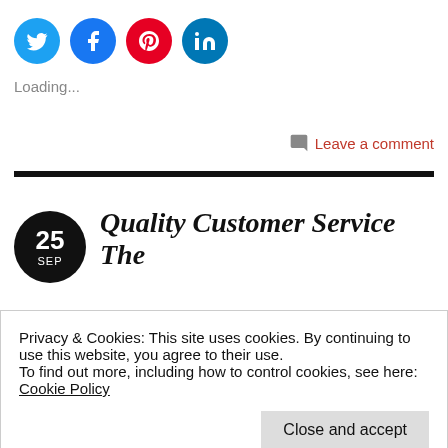[Figure (infographic): Four social media share icons in circles: Twitter (blue), Facebook (blue), Pinterest (red), LinkedIn (blue)]
Loading...
Leave a comment
Quality Customer Service The
Privacy & Cookies: This site uses cookies. By continuing to use this website, you agree to their use.
To find out more, including how to control cookies, see here: Cookie Policy
Close and accept
of Business, McMaster University. As an avid Disney fan there were